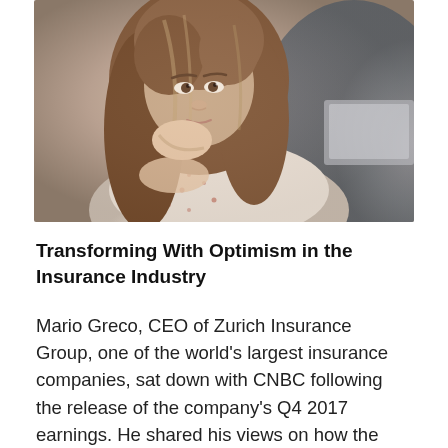[Figure (photo): A young woman with long brown hair, wearing a white floral/polka-dot blouse, resting her chin on her hand in a thoughtful pose. A laptop is partially visible at the right edge of the image.]
Transforming With Optimism in the Insurance Industry
Mario Greco, CEO of Zurich Insurance Group, one of the world's largest insurance companies, sat down with CNBC following the release of the company's Q4 2017 earnings. He shared his views on how the industry is doing as